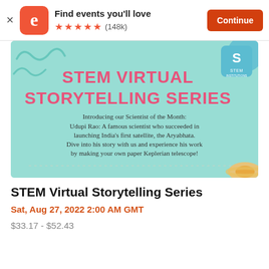Find events you'll love ★★★★★ (148k) Continue
[Figure (illustration): STEM Virtual Storytelling Series promotional banner with teal/mint background. Text reads: 'STEM VIRTUAL STORYTELLING SERIES' in large pink font. Below: 'Introducing our Scientist of the Month: Udupi Rao: A famous scientist who succeeded in launching India's first satellite, the Aryabhata. Dive into his story with us and experience his work by making your own paper Keplerian telescope!' STEM Institutions logo in top right corner. Decorative elements include teal squiggles, a blue circle, dotted line, and a Saturn planet illustration.]
STEM Virtual Storytelling Series
Sat, Aug 27, 2022 2:00 AM GMT
$33.17 - $52.43